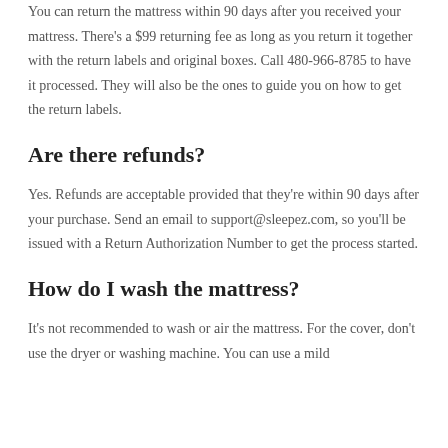You can return the mattress within 90 days after you received your mattress. There's a $99 returning fee as long as you return it together with the return labels and original boxes. Call 480-966-8785 to have it processed. They will also be the ones to guide you on how to get the return labels.
Are there refunds?
Yes. Refunds are acceptable provided that they're within 90 days after your purchase. Send an email to support@sleepez.com, so you'll be issued with a Return Authorization Number to get the process started.
How do I wash the mattress?
It's not recommended to wash or air the mattress. For the cover, don't use the dryer or washing machine. You can use a mild